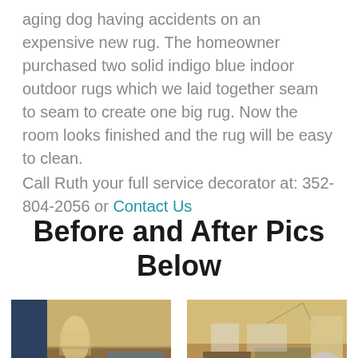aging dog having accidents on an expensive new rug. The homeowner purchased two solid indigo blue indoor outdoor rugs which we laid together seam to seam to create one big rug. Now the room looks finished and the rug will be easy to clean.
Call Ruth your full service decorator at: 352-804-2056 or Contact Us
Before and After Pics Below
[Figure (photo): Before photo of a living room interior with blue rug visible, lamp, sofa, and window]
[Figure (photo): After photo of the same living room interior with ceiling fan, plants, sofa, and open door to patio]